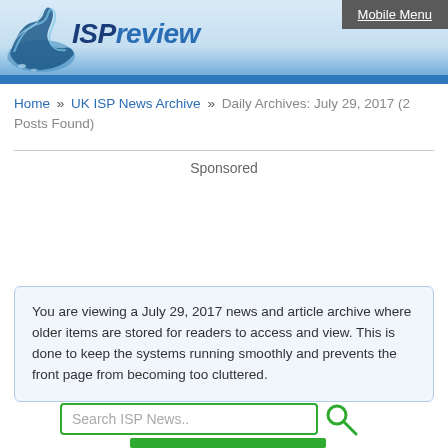[Figure (logo): ISPreview website logo with wave graphic and text 'ISPreview' in blue italic font on light blue gradient header background]
Mobile Menu
Home » UK ISP News Archive » Daily Archives: July 29, 2017 (2 Posts Found)
Sponsored
You are viewing a July 29, 2017 news and article archive where older items are stored for readers to access and view. This is done to keep the systems running smoothly and prevents the front page from becoming too cluttered.
Search ISP News..